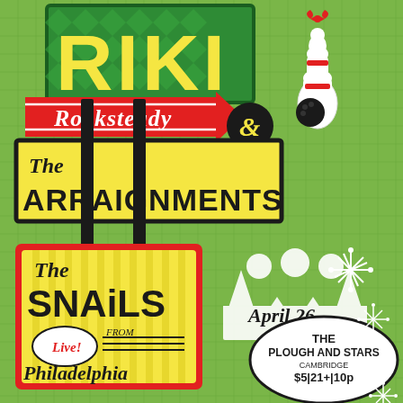[Figure (illustration): Retro 1950s style concert poster featuring RIKI Rocksteady & The Arraignments and The Snails on a green checkered background with vintage sign graphics, bowling pin, crown, and starburst decorations.]
RIKI
Rocksteady &
The ARRAIGNMENTS
THE SNAiLS
Live! FROM Philadelphia
April 26
THE PLOUGH AND STARS CAMBRIDGE $5|21+|10p